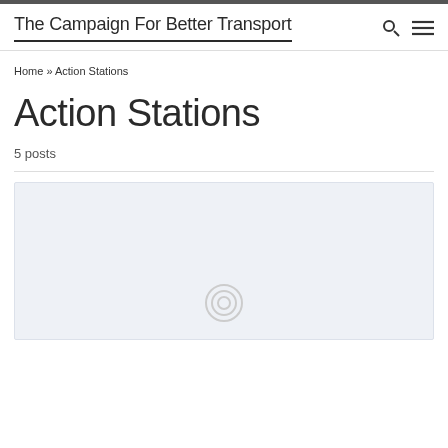The Campaign For Better Transport
Home » Action Stations
Action Stations
5 posts
[Figure (screenshot): Placeholder image area with a loading spinner icon, light blue-grey background]